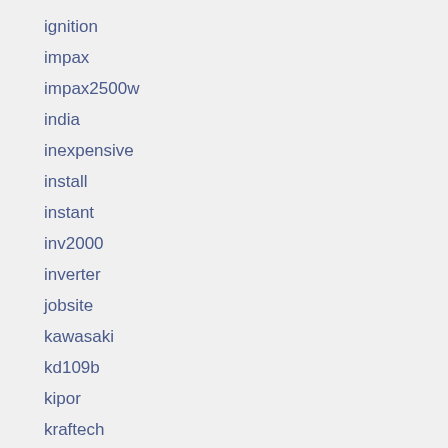ignition
impax
impax2500w
india
inexpensive
install
instant
inv2000
inverter
jobsite
kawasaki
kd109b
kipor
kraftech
kraftschwung
launtop
leaking
listing